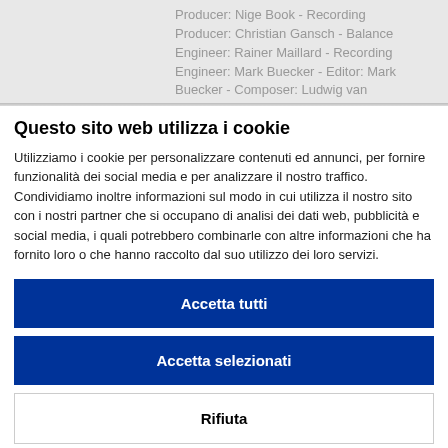Producer: Nige Book - Recording Producer: Christian Gansch - Balance Engineer: Rainer Maillard - Recording Engineer: Mark Buecker - Editor: Mark Buecker - Composer: Ludwig van
Questo sito web utilizza i cookie
Utilizziamo i cookie per personalizzare contenuti ed annunci, per fornire funzionalità dei social media e per analizzare il nostro traffico. Condividiamo inoltre informazioni sul modo in cui utilizza il nostro sito con i nostri partner che si occupano di analisi dei dati web, pubblicità e social media, i quali potrebbero combinarle con altre informazioni che ha fornito loro o che hanno raccolto dal suo utilizzo dei loro servizi.
Accetta tutti
Accetta selezionati
Rifiuta
| ✓ Necessari | Preferenze | Statistiche | Mostra dettagli ∨ |
| Marketing |  |  |  |